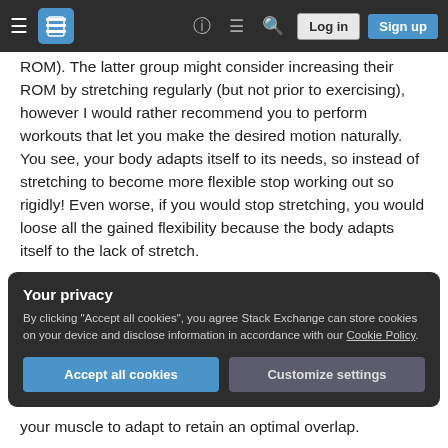Stack Exchange navigation bar with hamburger menu, logo, help, chat, search icons, Log in and Sign up buttons
ROM). The latter group might consider increasing their ROM by stretching regularly (but not prior to exercising), however I would rather recommend you to perform workouts that let you make the desired motion naturally. You see, your body adapts itself to its needs, so instead of stretching to become more flexible stop working out so rigidly! Even worse, if you would stop stretching, you would loose all the gained flexibility because the body adapts itself to the lack of stretch.
Your privacy
By clicking "Accept all cookies", you agree Stack Exchange can store cookies on your device and disclose information in accordance with our Cookie Policy.
Accept all cookies | Customize settings
your muscle to adapt to retain an optimal overlap.